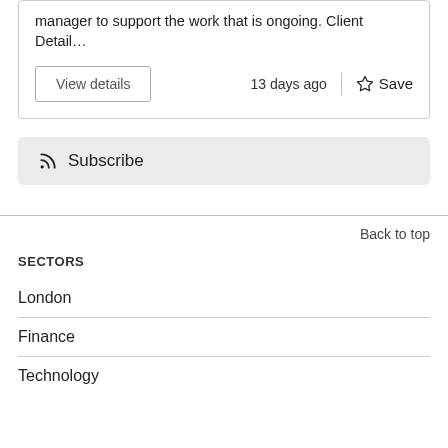manager to support the work that is ongoing. Client Detail…
View details
13 days ago
Save
Subscribe
Back to top
SECTORS
London
Finance
Technology